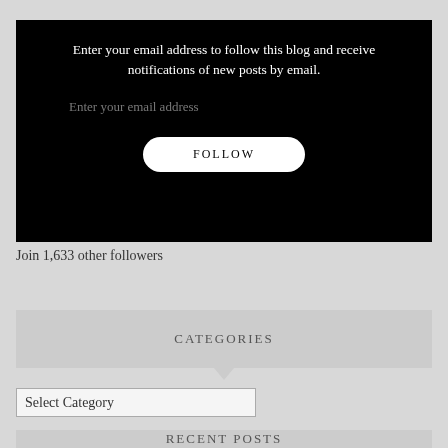Enter your email address to follow this blog and receive notifications of new posts by email.
Enter your email address
FOLLOW
Join 1,633 other followers
CATEGORIES
Select Category
RECENT POSTS